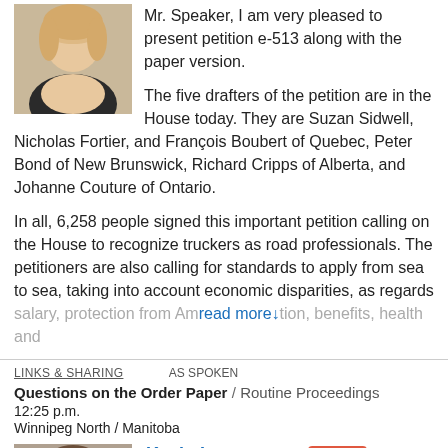[Figure (photo): Headshot of a blonde woman, presumably an MP]
Mr. Speaker, I am very pleased to present petition e-513 along with the paper version.

The five drafters of the petition are in the House today. They are Suzan Sidwell, Nicholas Fortier, and François Boubert of Quebec, Peter Bond of New Brunswick, Richard Cripps of Alberta, and Johanne Couture of Ontario.

In all, 6,258 people signed this important petition calling on the House to recognize truckers as road professionals. The petitioners are also calling for standards to apply from sea to sea, taking into account economic disparities, as regards salary, protection from Am [read more] tion, benefits, health and
LINKS & SHARING   AS SPOKEN
Questions on the Order Paper / Routine Proceedings
12:25 p.m.
Winnipeg North / Manitoba
[Figure (photo): Headshot of Kevin Lamoureux, a man in a suit]
Kevin Lamoureux Liberal Parliamentary Secretary to the Leader of the Government in the House of Commons